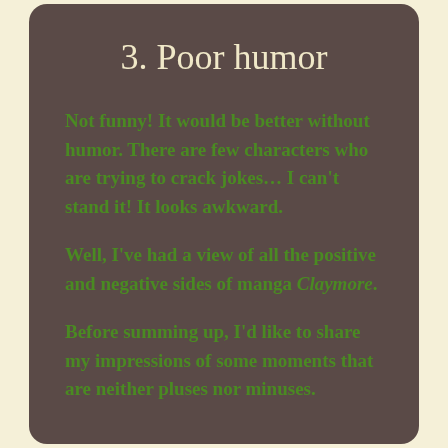3. Poor humor
Not funny! It would be better without humor. There are few characters who are trying to crack jokes… I can't stand it! It looks awkward.
Well, I've had a view of all the positive and negative sides of manga Claymore.
Before summing up, I'd like to share my impressions of some moments that are neither pluses nor minuses.